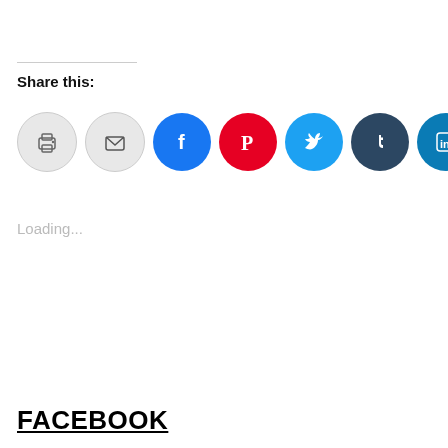Share this:
[Figure (infographic): Row of social share buttons: print (gray circle with printer icon), email (gray circle with envelope icon), Facebook (blue circle with f icon), Pinterest (red circle with P icon), Twitter (cyan circle with bird icon), Tumblr (dark blue circle with t icon), LinkedIn (blue circle with in icon)]
Loading...
FACEBOOK